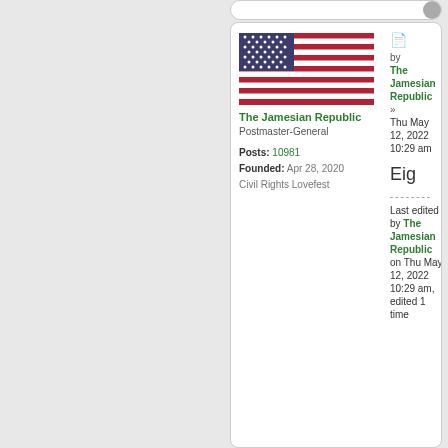[Figure (screenshot): Forum post card showing The Jamesian Republic user profile with flag, post metadata, and timestamp]
by The Jamesian Republic
Thu May 12, 2022 10:29 am
Eig
Last edited by The Jamesian Republic on Thu May 12, 2022 10:29 am, edited 1 time